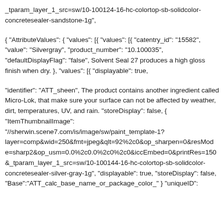_tparam_layer_1_src=sw/10-100124-16-hc-colortop-sb-solidcolor-concretesealer-sandstone-1g",
{ "AttributeValues": { "values": [{ "values": [{ "catentry_id": "15582", "value": "Silvergray", "product_number": "10.100035", "defaultDisplayFlag": "false", Solvent Seal 27 produces a high gloss finish when dry. }, "values": [{ "displayable": true,
"identifier": "ATT_sheen", The product contains another ingredient called Micro-Lok, that make sure your surface can not be affected by weather, dirt, temperatures, UV, and rain. "storeDisplay": false, { "ItemThumbnailImage": "//sherwin.scene7.com/is/image/sw/paint_template-1?layer=comp&wid=250&fmt=jpeg&qlt=92%2c0&op_sharpen=0&resMod e=sharp2&op_usm=0.0%2c0.0%2c0%2c0&iccEmbed=0&printRes=150&_tparam_layer_1_src=sw/10-100144-16-hc-colortop-sb-solidcolor-concretesealer-silver-gray-1g", "displayable": true, "storeDisplay": false, "Base":"ATT_calc_base_name_or_package_color_" } "uniqueID":